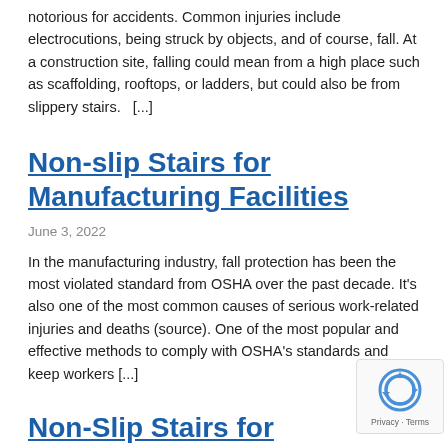notorious for accidents. Common injuries include electrocutions, being struck by objects, and of course, fall. At a construction site, falling could mean from a high place such as scaffolding, rooftops, or ladders, but could also be from slippery stairs.  [...]
Non-slip Stairs for Manufacturing Facilities
June 3, 2022
In the manufacturing industry, fall protection has been the most violated standard from OSHA over the past decade. It's also one of the most common causes of serious work-related injuries and deaths (source). One of the most popular and effective methods to comply with OSHA's standards and keep workers [...]
Non-Slip Stairs for
[Figure (other): reCAPTCHA badge with robot icon and Privacy - Terms text]